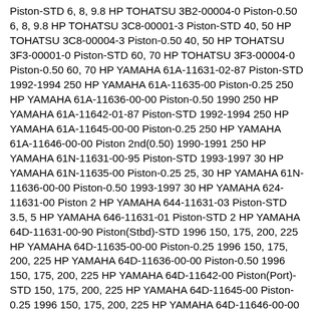Piston-STD 6, 8, 9.8 HP TOHATSU 3B2-00004-0 Piston-0.50 6, 8, 9.8 HP TOHATSU 3C8-00001-3 Piston-STD 40, 50 HP TOHATSU 3C8-00004-3 Piston-0.50 40, 50 HP TOHATSU 3F3-00001-0 Piston-STD 60, 70 HP TOHATSU 3F3-00004-0 Piston-0.50 60, 70 HP YAMAHA 61A-11631-02-87 Piston-STD 1992-1994 250 HP YAMAHA 61A-11635-00 Piston-0.25 250 HP YAMAHA 61A-11636-00-00 Piston-0.50 1990 250 HP YAMAHA 61A-11642-01-87 Piston-STD 1992-1994 250 HP YAMAHA 61A-11645-00-00 Piston-0.25 250 HP YAMAHA 61A-11646-00-00 Piston 2nd(0.50) 1990-1991 250 HP YAMAHA 61N-11631-00-95 Piston-STD 1993-1997 30 HP YAMAHA 61N-11635-00 Piston-0.25 25, 30 HP YAMAHA 61N-11636-00-00 Piston-0.50 1993-1997 30 HP YAMAHA 624-11631-00 Piston 2 HP YAMAHA 644-11631-03 Piston-STD 3.5, 5 HP YAMAHA 646-11631-01 Piston-STD 2 HP YAMAHA 64D-11631-00-90 Piston(Stbd)-STD 1996 150, 175, 200, 225 HP YAMAHA 64D-11635-00-00 Piston-0.25 1996 150, 175, 200, 225 HP YAMAHA 64D-11636-00-00 Piston-0.50 1996 150, 175, 200, 225 HP YAMAHA 64D-11642-00 Piston(Port)-STD 150, 175, 200, 225 HP YAMAHA 64D-11645-00 Piston-0.25 1996 150, 175, 200, 225 HP YAMAHA 64D-11646-00-00 Piston-0.50 1996 150, 175, 200, 225 HP YAMAHA 656-11631-60 Piston-STD 20, 25 HP YAMAHA 662-11631-01 Piston-STD 9.9, 15 HP YAMAHA 664-11631-01 Piston-STD 20, 25 HP YAMAHA